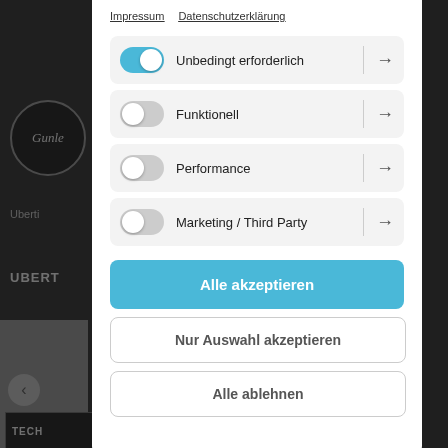Impressum   Datenschutzerklärung
Unbedingt erforderlich
Funktionell
Performance
Marketing / Third Party
Alle akzeptieren
Nur Auswahl akzeptieren
Alle ablehnen